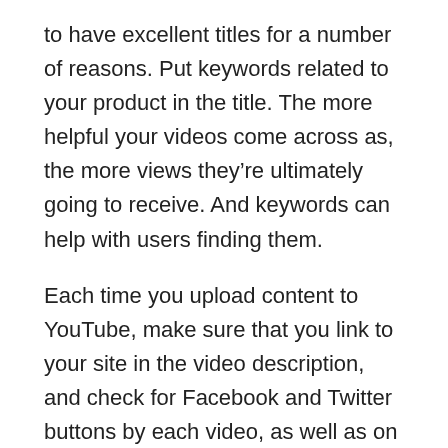to have excellent titles for a number of reasons. Put keywords related to your product in the title. The more helpful your videos come across as, the more views they're ultimately going to receive. And keywords can help with users finding them.
Each time you upload content to YouTube, make sure that you link to your site in the video description, and check for Facebook and Twitter buttons by each video, as well as on your channel's page. If you can get people who view your video to share it on social media, your audience will swell.
Your social media marketing efforts will be more successful with judicious use of advertisements. Position the ads and images in a place that is readily visible to site visitors. When your ads are in bad places, then it makes it